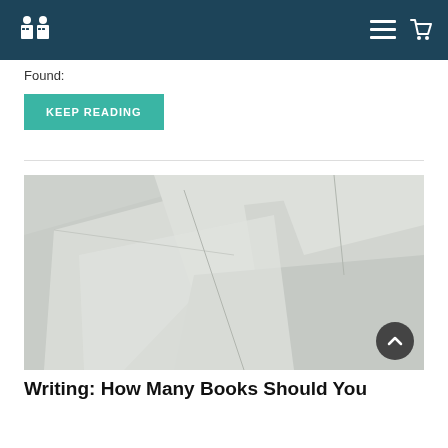Found:
KEEP READING
[Figure (photo): Overlapping white/light grey paper sheets or cards arranged at various angles against a light grey background]
Writing: How Many Books Should You